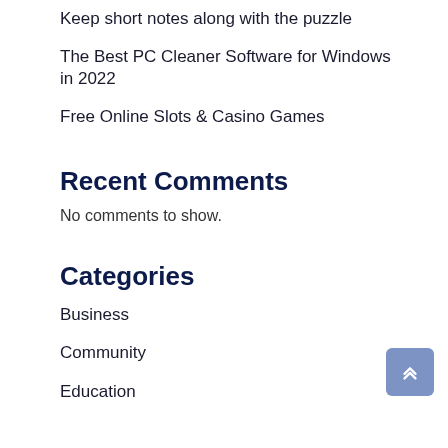Keep short notes along with the puzzle
The Best PC Cleaner Software for Windows in 2022
Free Online Slots & Casino Games
Recent Comments
No comments to show.
Categories
Business
Community
Education